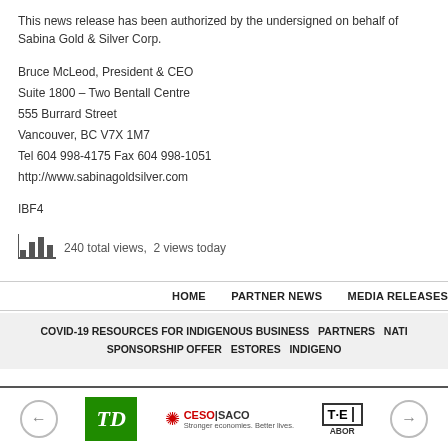This news release has been authorized by the undersigned on behalf of Sabina Gold & Silver Corp.
Bruce McLeod, President & CEO
Suite 1800 – Two Bentall Centre
555 Burrard Street
Vancouver, BC V7X 1M7
Tel 604 998-4175 Fax 604 998-1051
http://www.sabinagoldsilver.com
IBF4
240 total views,  2 views today
HOME  PARTNER NEWS  MEDIA RELEASES
COVID-19 RESOURCES FOR INDIGENOUS BUSINESS  PARTNERS  NATI... SPONSORSHIP OFFER  ESTORES  INDIGENO...
[Figure (logo): Logos bar with left arrow, TD green logo, CESO|SACO logo with tagline, T·E ABOR logo, right arrow]